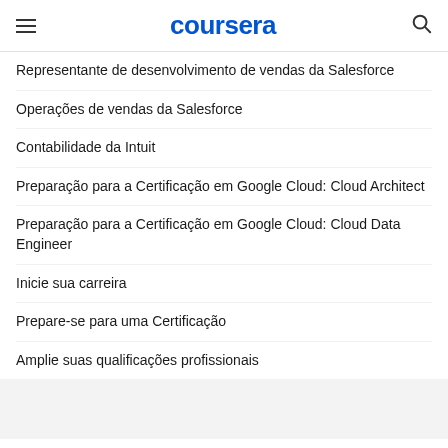coursera
Representante de desenvolvimento de vendas da Salesforce
Operações de vendas da Salesforce
Contabilidade da Intuit
Preparação para a Certificação em Google Cloud: Cloud Architect
Preparação para a Certificação em Google Cloud: Cloud Data Engineer
Inicie sua carreira
Prepare-se para uma Certificação
Amplie suas qualificações profissionais
Procurar temas populares
cursos gratuitos